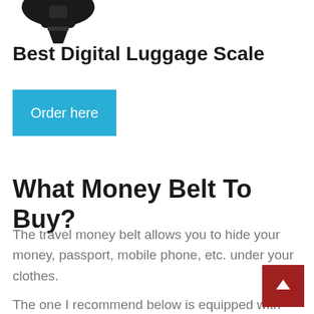[Figure (photo): Partial product image of a digital luggage scale, showing a black strap/handle portion at the top of the page.]
Best Digital Luggage Scale
[Figure (other): Blue button with white text reading 'Order here']
What Money Belt To Buy?
The travel money belt allows you to hide your money, passport, mobile phone, etc. under your clothes.
The one I recommend below is equipped with